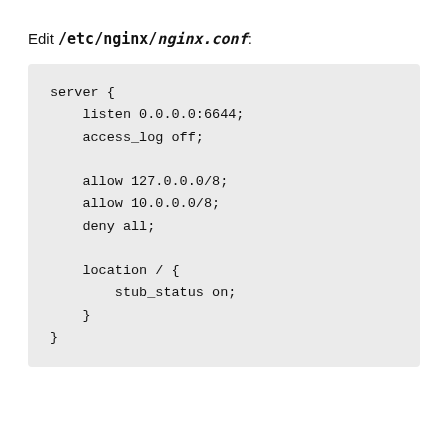Edit /etc/nginx/nginx.conf:
server {
    listen 0.0.0.0:6644;
    access_log off;

    allow 127.0.0.0/8;
    allow 10.0.0.0/8;
    deny all;

    location / {
        stub_status on;
    }
}